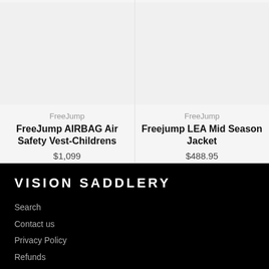FreeJump
FreeJump AIRBAG Air Safety Vest-Childrens
$1,099
FreeJump
Freejump LEA Mid Season Jacket
$488.95
VISION SADDLERY
Search
Contact us
Privacy Policy
Refunds